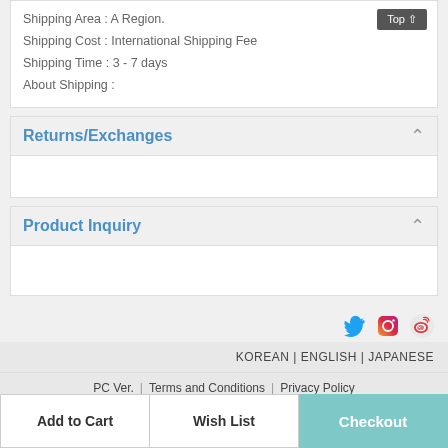Shipping Area : A Region.
Shipping Cost : International Shipping Fee
Shipping Time : 3 - 7 days
About Shipping :
Returns/Exchanges
Product Inquiry
KOREAN | ENGLISH | JAPANESE
PC Ver. | Terms and Conditions | Privacy Policy
Business Name   SWITCH
Add to Cart   Wish List   Checkout